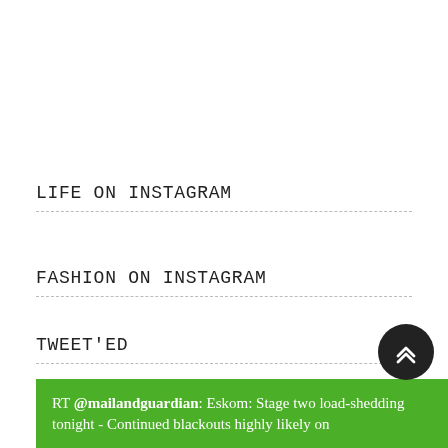LIFE ON INSTAGRAM
FASHION ON INSTAGRAM
TWEET'ED
RT @mailandguardian: Eskom: Stage two load-shedding tonight - Continued blackouts highly likely on